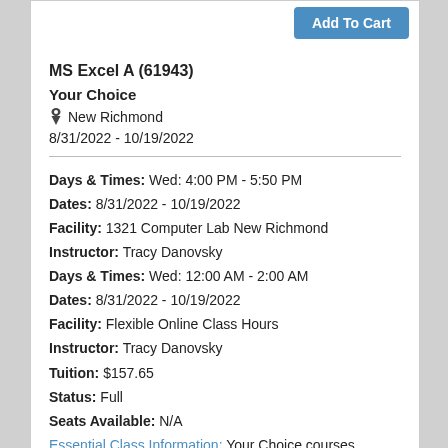Add To Cart
MS Excel A (61943)
Your Choice
New Richmond
8/31/2022 - 10/19/2022
Days & Times: Wed: 4:00 PM - 5:50 PM
Dates: 8/31/2022 - 10/19/2022
Facility: 1321 Computer Lab New Richmond
Instructor: Tracy Danovsky
Days & Times: Wed: 12:00 AM - 2:00 AM
Dates: 8/31/2022 - 10/19/2022
Facility: Flexible Online Class Hours
Instructor: Tracy Danovsky
Tuition: $157.65
Status: Full
Seats Available: N/A
Essential Class Information: Your Choice courses provide the flexibility of online with the advantage of access to live interacti …